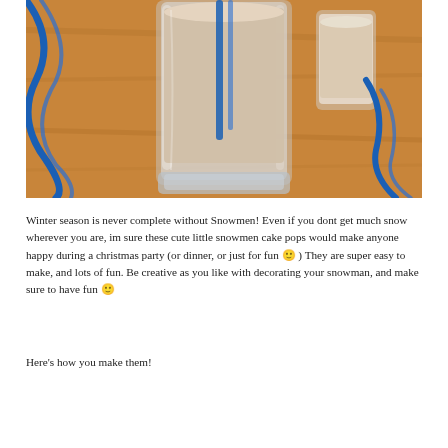[Figure (photo): Two glass tumblers filled with a creamy beige milkshake-like drink, with blue ribbon/streamer decoration, sitting on a wooden table surface.]
Winter season is never complete without Snowmen! Even if you dont get much snow wherever you are, im sure these cute little snowmen cake pops would make anyone happy during a christmas party (or dinner, or just for fun 🙂 ) They are super easy to make, and lots of fun. Be creative as you like with decorating your snowman, and make sure to have fun 🙂
Here's how you make them!